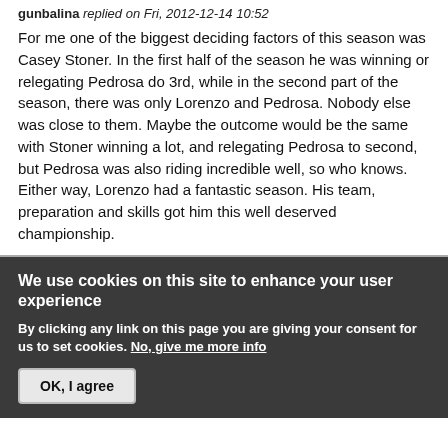gunbalina replied on Fri, 2012-12-14 10:52
For me one of the biggest deciding factors of this season was Casey Stoner. In the first half of the season he was winning or relegating Pedrosa do 3rd, while in the second part of the season, there was only Lorenzo and Pedrosa. Nobody else was close to them. Maybe the outcome would be the same with Stoner winning a lot, and relegating Pedrosa to second, but Pedrosa was also riding incredible well, so who knows.
Either way, Lorenzo had a fantastic season. His team, preparation and skills got him this well deserved championship.
We use cookies on this site to enhance your user experience
By clicking any link on this page you are giving your consent for us to set cookies. No, give me more info
OK, I agree